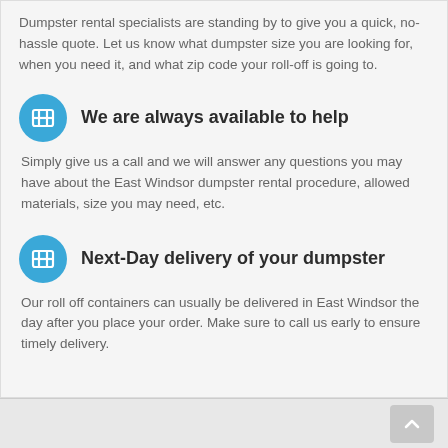Dumpster rental specialists are standing by to give you a quick, no-hassle quote. Let us know what dumpster size you are looking for, when you need it, and what zip code your roll-off is going to.
We are always available to help
Simply give us a call and we will answer any questions you may have about the East Windsor dumpster rental procedure, allowed materials, size you may need, etc.
Next-Day delivery of your dumpster
Our roll off containers can usually be delivered in East Windsor the day after you place your order. Make sure to call us early to ensure timely delivery.